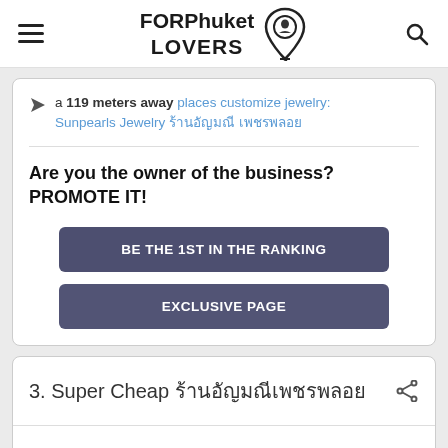FORPhuket LOVERS
a 119 meters away places customize jewelry: Sunpearls Jewelry ร้านอัญมณี เพชรพลอย
Are you the owner of the business? PROMOTE IT!
BE THE 1ST IN THE RANKING
EXCLUSIVE PAGE
3. Super Cheap ร้านอัญมณีเพชรพลอย